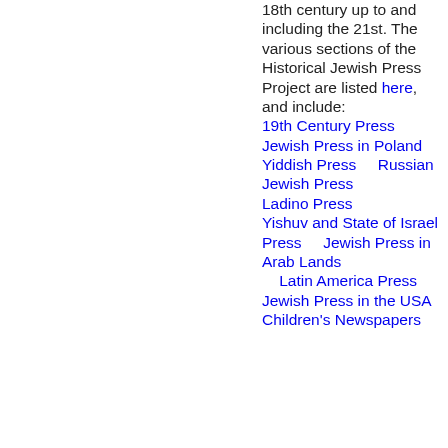18th century up to and including the 21st. The various sections of the Historical Jewish Press Project are listed here, and include:
19th Century Press
Jewish Press in Poland
Yiddish Press
Russian Jewish Press
Ladino Press
Yishuv and State of Israel Press
Jewish Press in Arab Lands
Latin America Press
Jewish Press in the USA
Children's Newspapers